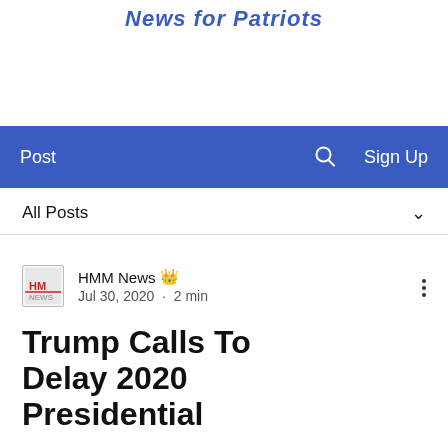News for Patriots
Post   🔍   Sign Up
All Posts
HMM News  Admin
Jul 30, 2020 · 2 min
Trump Calls To Delay 2020 Presidential